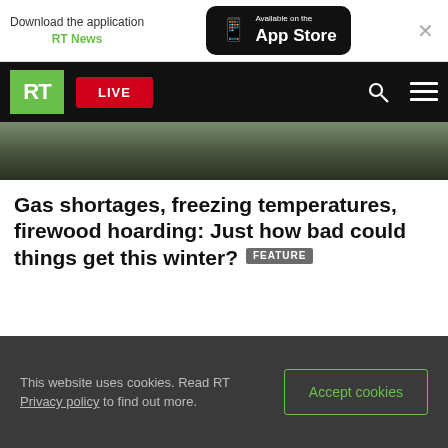Download the application RT News — Available on the App Store
[Figure (screenshot): RT News website navigation bar with green RT logo, red LIVE button, search and menu icons on black background]
[Figure (photo): Hero image partial view — dark outdoor scene]
Gas shortages, freezing temperatures, firewood hoarding: Just how bad could things get this winter? FEATURE
This website uses cookies. Read RT Privacy policy to find out more.
Accept cookies